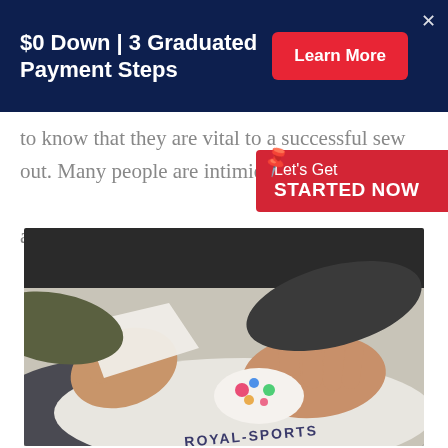$0 Down | 3 Graduated Payment Steps
Learn More
to know that they are vital to a successful sew out. Many people are intimidated adjusting tensions on their own, but it...
Let's Get STARTED NOW
[Figure (photo): Close-up photo of two hands working with embroidered fabric, one hand holding up white material while the other presses down on embroidered design on shirt]